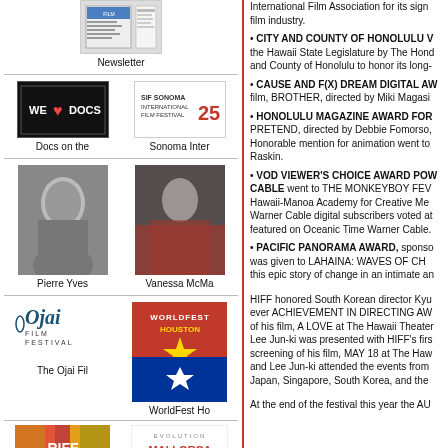[Figure (illustration): Newsletter thumbnail image]
Newsletter
[Figure (logo): We Love Docs logo - black background with heart]
Docs on the
[Figure (logo): Sonoma International Film Festival 25th anniversary logo]
Sonoma Inter
[Figure (photo): Black and white headshot of Pierre Yves]
Pierre Yves
[Figure (photo): Vanessa McMa at a red carpet event in red dress]
Vanessa McMa
[Figure (logo): Ojai Film Festival logo]
The Ojai Fil
[Figure (logo): WorldFest Houston logo with star]
WorldFest Ho
[Figure (logo): Reykjavik International Film Festival RIFF logo]
Reykjavik In
[Figure (logo): Evolution Mallorca International Film Festival logo]
International Film Association for its sign film industry. • CITY AND COUNTY OF HONOLULU V the Hawaii State Legislature by The Hond and County of Honolulu to honor its long- • CAUSE AND F(X) DREAM DIGITAL AW film, BROTHER, directed by Miki Magasi • HONOLULU MAGAZINE AWARD FOR PRETEND, directed by Debbie Fomorso, Honorable mention for animation went to Raskin. • VOD VIEWER'S CHOICE AWARD POW CABLE went to THE MONKEYBOY FEV Hawaii-Manoa Academy for Creative Me Warner Cable digital subscribers voted at featured on Oceanic Time Warner Cable. • PACIFIC PANORAMA AWARD, sponso was given to LAHAINA: WAVES OF CH this epic story of change in an intimate an HIFF honored South Korean director Kyu ever ACHIEVEMENT IN DIRECTING AW of his film, A LOVE at The Hawaii Theater Lee Jun-ki was presented with HIFF's firs screening of his film, MAY 18 at The Haw and Lee Jun-ki attended the events from Japan, Singapore, South Korea, and the At the end of the festival this year the AU